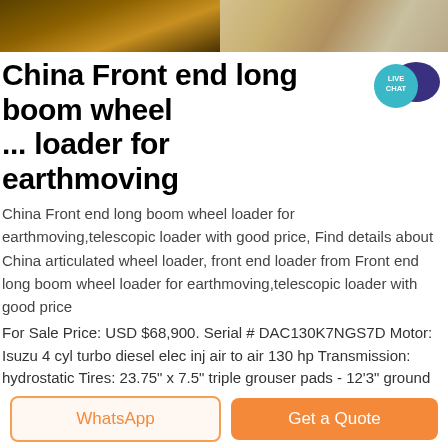[Figure (photo): Top strip showing construction equipment — yellow machinery on left, construction site on right]
China Front end long boom wheel ... loader for earthmoving
[Figure (infographic): Live Chat badge — teal circle with speech bubble and 'LIVE CHAT' text]
China Front end long boom wheel loader for earthmoving,telescopic loader with good price, Find details about China articulated wheel loader, front end loader from Front end long boom wheel loader for earthmoving,telescopic loader with good price
For Sale Price: USD $68,900. Serial # DAC130K7NGS7D Motor: Isuzu 4 cyl turbo diesel elec inj air to air 130 hp Transmission: hydrostatic Tires: 23.75" x 7.5" triple grouser pads - 12'3" ground tread Hour Reading: 5,069 Length: 13'3" Width: 8'6" .... :Height: 9'4" Weight
« Send message
[Figure (photo): Bottom partial photo strip of construction scene]
WhatsApp
Get a Quote